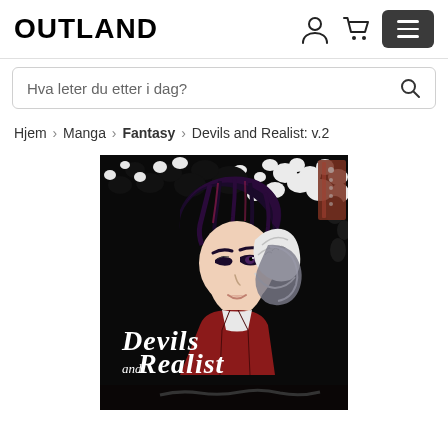[Figure (logo): OUTLAND logo in bold black text]
Hva leter du etter i dag?
Hjem > Manga > Fantasy > Devils and Realist: v.2
[Figure (illustration): Manga book cover for Devils and Realist volume 2, showing an anime-style character with dark hair in a red and white outfit against a black background with white floral patterns. Title text reads 'Devils and Realist' in decorative gothic font.]